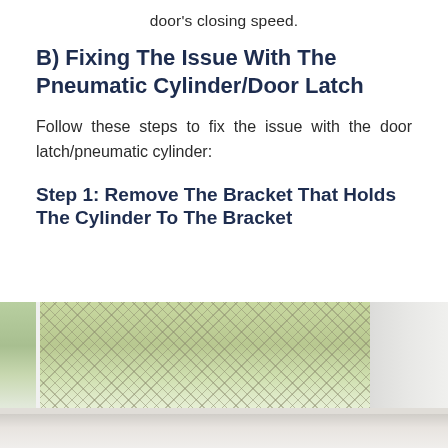door's closing speed.
B) Fixing The Issue With The Pneumatic Cylinder/Door Latch
Follow these steps to fix the issue with the door latch/pneumatic cylinder:
Step 1: Remove The Bracket That Holds The Cylinder To The Bracket
[Figure (photo): Photo showing a door with mesh screen/window and white door frame components including the pneumatic cylinder bracket area]